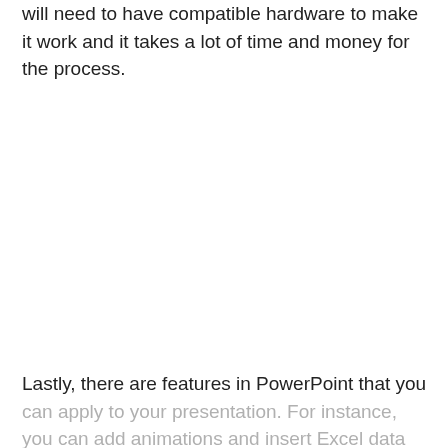will need to have compatible hardware to make it work and it takes a lot of time and money for the process.
Lastly, there are features in PowerPoint that you can apply to your presentation. For instance, you can add animations and insert Excel data on your